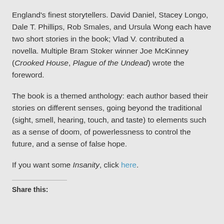England's finest storytellers. David Daniel, Stacey Longo, Dale T. Phillips, Rob Smales, and Ursula Wong each have two short stories in the book; Vlad V. contributed a novella. Multiple Bram Stoker winner Joe McKinney (Crooked House, Plague of the Undead) wrote the foreword.
The book is a themed anthology: each author based their stories on different senses, going beyond the traditional (sight, smell, hearing, touch, and taste) to elements such as a sense of doom, of powerlessness to control the future, and a sense of false hope.
If you want some Insanity, click here.
Share this: